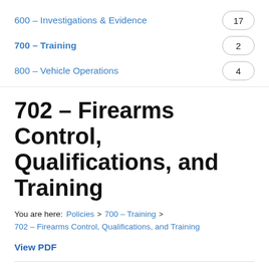600 – Investigations & Evidence  17
700 – Training  2
800 – Vehicle Operations  4
702 – Firearms Control, Qualifications, and Training
You are here:  Policies > 700 – Training > 702 – Firearms Control, Qualifications, and Training
View PDF
I. Purpose